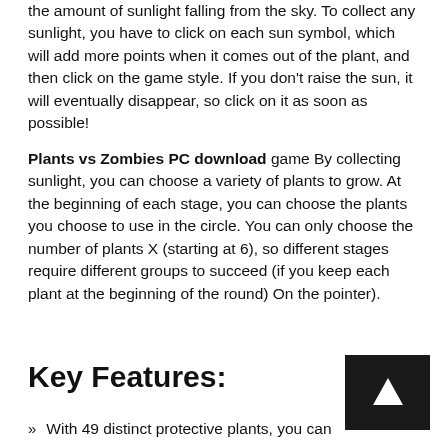the amount of sunlight falling from the sky. To collect any sunlight, you have to click on each sun symbol, which will add more points when it comes out of the plant, and then click on the game style. If you don't raise the sun, it will eventually disappear, so click on it as soon as possible!
Plants vs Zombies PC download game By collecting sunlight, you can choose a variety of plants to grow. At the beginning of each stage, you can choose the plants you choose to use in the circle. You can only choose the number of plants X (starting at 6), so different stages require different groups to succeed (if you keep each plant at the beginning of the round) On the pointer).
Key Features:
With 49 distinct protective plants, you can